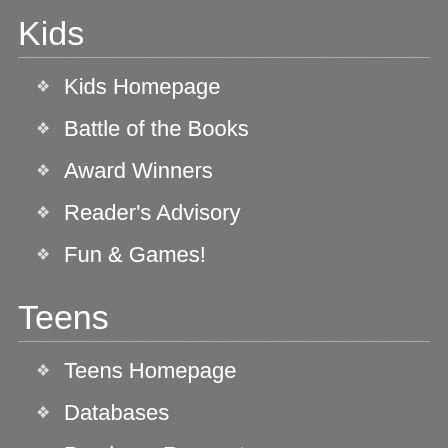Kids
Kids Homepage
Battle of the Books
Award Winners
Reader's Advisory
Fun & Games!
Teens
Teens Homepage
Databases
Purchase Request
Teen Reads
Teen Resources